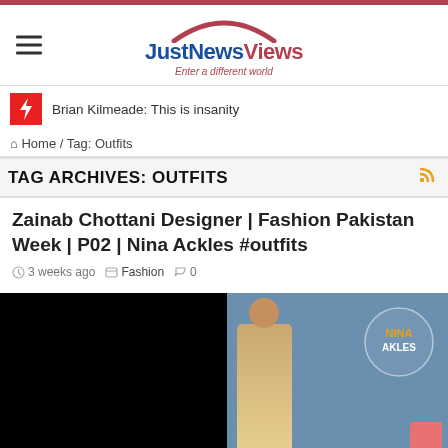[Figure (logo): JustNewsViews logo with arc above, tagline 'Enter a different world']
Brian Kilmeade: This is insanity
Home / Tag: Outfits
TAG ARCHIVES: OUTFITS
Zainab Chottani Designer | Fashion Pakistan Week | P02 | Nina Ackles #outfits
3 weeks ago  Fashion  0
[Figure (photo): Split image: left half black, right half showing a bride in traditional South Asian attire with headpiece, with NINA AKLES badge overlay in top right]